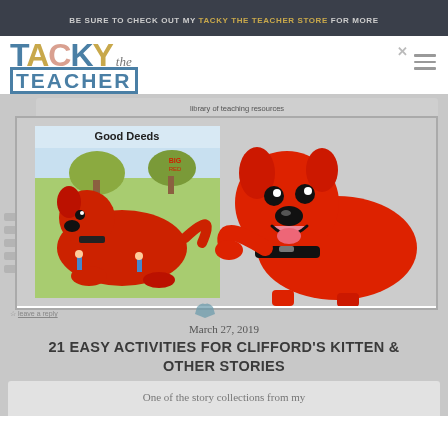BE SURE TO CHECK OUT MY TACKY THE TEACHER STORE FOR MORE
[Figure (logo): Tacky the Teacher logo with colorful letters and script 'the']
[Figure (illustration): Clifford the Big Red Dog illustration alongside a book cover of 'Clifford's Good Deeds']
March 27, 2019
21 EASY ACTIVITIES FOR CLIFFORD'S KITTEN & OTHER STORIES
One of the story collections from my